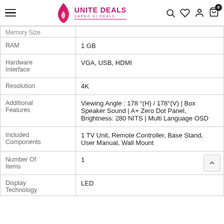Unite Deals — SAPNO KI DEALS
| Feature | Value |
| --- | --- |
| Memory Size |  |
| RAM | 1 GB |
| Hardware Interface | VGA, USB, HDMI |
| Resolution | 4K |
| Additional Features | Viewing Angle : 178 °(H) / 178°(V) | Box Speaker Sound | A+ Zero Dot Panel, Brightness: 280 NITS | Multi Language OSD |
| Included Components | 1 TV Unit, Remote Controller, Base Stand, User Manual, Wall Mount |
| Number Of Items | 1 |
| Display Technology | LED |